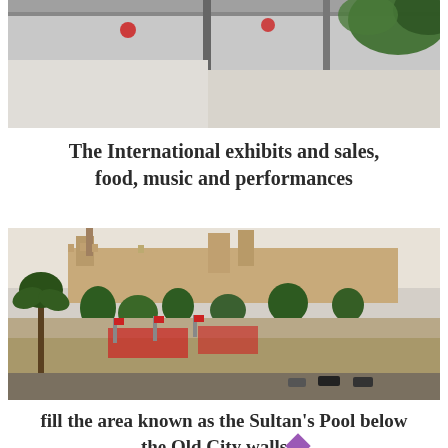[Figure (photo): Top portion of a photo showing what appears to be a festival or market scene with lights and foliage visible at the top]
The International exhibits and sales, food, music and performances
[Figure (photo): Aerial/elevated view of the Sultan's Pool area below Jerusalem's Old City walls, showing an outdoor event venue with tents, flags, trees, and the ancient stone walls and towers of the Old City in the background at dusk]
fill the area known as the Sultan's Pool below the Old City walls